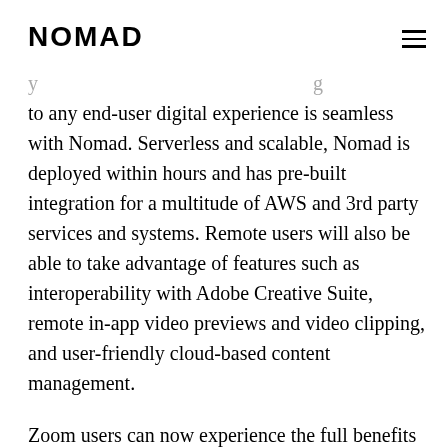NOMAD
to any end-user digital experience is seamless with Nomad. Serverless and scalable, Nomad is deployed within hours and has pre-built integration for a multitude of AWS and 3rd party services and systems. Remote users will also be able to take advantage of features such as interoperability with Adobe Creative Suite, remote in-app video previews and video clipping, and user-friendly cloud-based content management.
Zoom users can now experience the full benefits